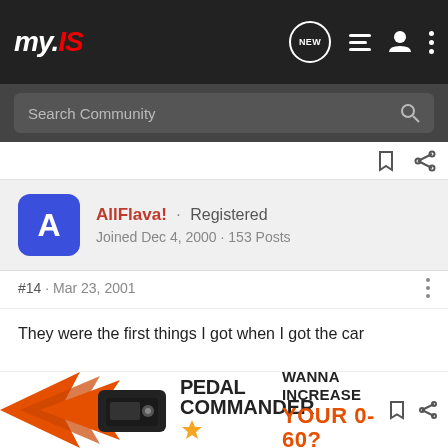my.IS · Search Community
AllFlava! · Registered · Joined Dec 4, 2000 · 153 Posts
#14 · Mar 23, 2001
They were the first things I got when I got the car
[Figure (screenshot): Pedal Commander advertisement banner: WANNA INCREASE YOUR 0-60?]